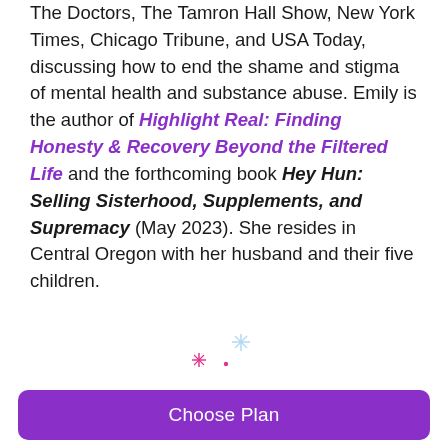The Doctors, The Tamron Hall Show, New York Times, Chicago Tribune, and USA Today, discussing how to end the shame and stigma of mental health and substance abuse. Emily is the author of Highlight Real: Finding Honesty & Recovery Beyond the Filtered Life and the forthcoming book Hey Hun: Selling Sisterhood, Supplements, and Supremacy (May 2023). She resides in Central Oregon with her husband and their five children.
[Figure (illustration): Decorative sparkle/star icons in pink and light blue]
Choose Plan